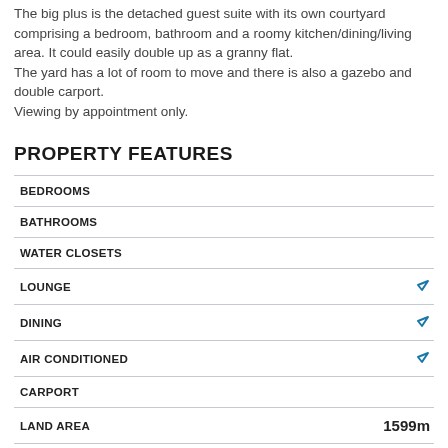The big plus is the detached guest suite with its own courtyard comprising a bedroom, bathroom and a roomy kitchen/dining/living area. It could easily double up as a granny flat.
The yard has a lot of room to move and there is also a gazebo and double carport.
Viewing by appointment only.
PROPERTY FEATURES
| Feature | Value |
| --- | --- |
| BEDROOMS |  |
| BATHROOMS |  |
| WATER CLOSETS |  |
| LOUNGE | ✓ |
| DINING | ✓ |
| AIR CONDITIONED | ✓ |
| CARPORT |  |
| LAND AREA | 1599m |
To view full details about this property go to www.reiwa.com